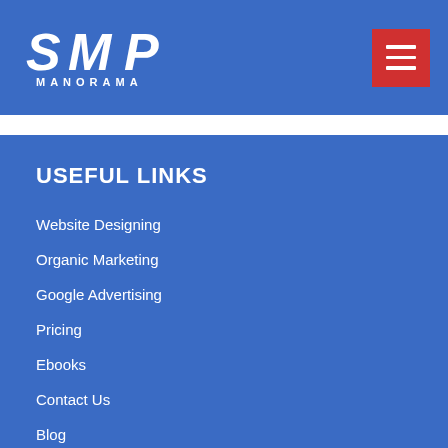[Figure (logo): SMP Manorama logo in white on blue background]
USEFUL LINKS
Website Designing
Organic Marketing
Google Advertising
Pricing
Ebooks
Contact Us
Blog